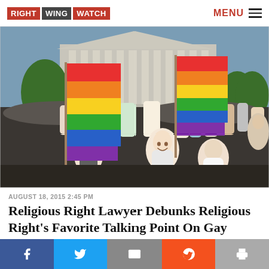RIGHT WING WATCH
[Figure (photo): Crowd of people celebrating outside the US Supreme Court building, waving rainbow pride flags. Two large rainbow flags are prominently held up in the foreground, with a smiling crowd and the classical Supreme Court building columns visible in the background.]
AUGUST 18, 2015 2:45 PM
Religious Right Lawyer Debunks Religious Right's Favorite Talking Point On Gay Marriage ›